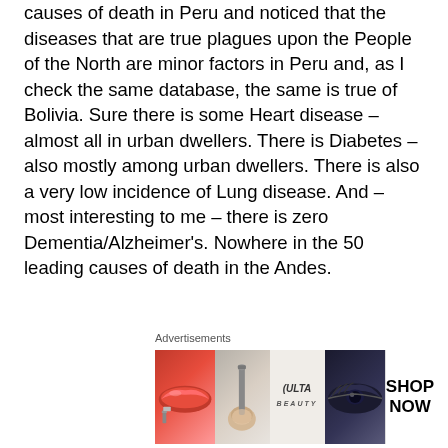causes of death in Peru and noticed that the diseases that are true plagues upon the People of the North are minor factors in Peru and, as I check the same database, the same is true of Bolivia. Sure there is some Heart disease – almost all in urban dwellers. There is Diabetes – also mostly among urban dwellers. There is also a very low incidence of Lung disease. And – most interesting to me – there is zero Dementia/Alzheimer's. Nowhere in the 50 leading causes of death in the Andes.
Does that suggest something to you about our toxic environment, and most likely our
[Figure (other): Advertisement banner for Ulta Beauty showing close-up images of lips with red lipstick, a makeup brush, eyes with makeup, the Ulta logo, dark eye makeup close-up, and a 'SHOP NOW' call-to-action button.]